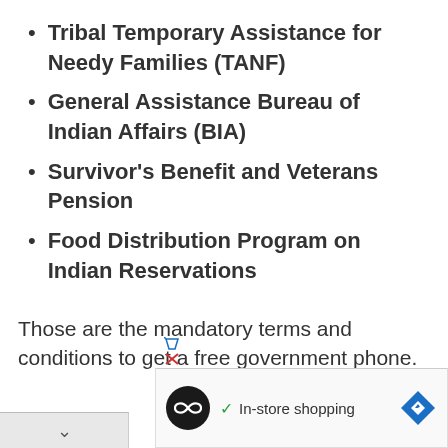Tribal Temporary Assistance for Needy Families (TANF)
General Assistance Bureau of Indian Affairs (BIA)
Survivor's Benefit and Veterans Pension
Food Distribution Program on Indian Reservations
Those are the mandatory terms and conditions to get a free government phone.
[Figure (screenshot): Browser UI element showing a chevron/collapse button and an advertisement bar with a black circular logo, a checkmark with 'In-store shopping' text, and a blue diamond navigation arrow icon, plus small ad icons.]